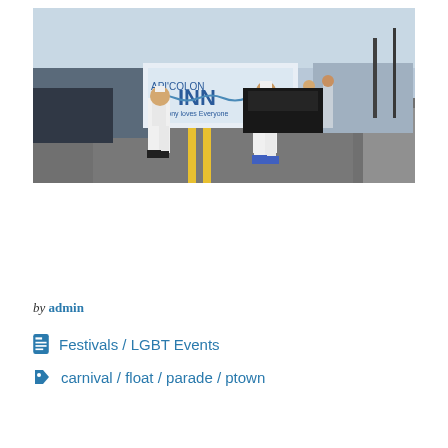[Figure (photo): Outdoor parade scene on a road. Two shirtless men in white shorts and sailor hats carry a banner reading 'Cape Colony Inn - The Colony loves Everyone'. Other parade participants, cars, and spectators are visible in the background.]
by admin
Festivals / LGBT Events
carnival / float / parade / ptown